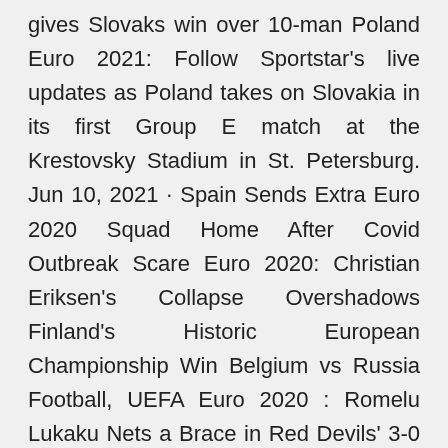gives Slovaks win over 10-man Poland Euro 2021: Follow Sportstar's live updates as Poland takes on Slovakia in its first Group E match at the Krestovsky Stadium in St. Petersburg. Jun 10, 2021 · Spain Sends Extra Euro 2020 Squad Home After Covid Outbreak Scare Euro 2020: Christian Eriksen's Collapse Overshadows Finland's Historic European Championship Win Belgium vs Russia Football, UEFA Euro 2020 : Romelu Lukaku Nets a Brace in Red Devils' 3-0 Win Jun 11, 2021 · The Euro Cup 2021 will be held across Europe in 11 different cities, which is a record in the tournament's 60-year-old history. The opening game between Italy and Turkey will be taking place in Rome's Olimpico Stadium, while the finals will be held at the Wembley Stadium in London. Jun 11, 2021 · Poland vs. Slovakia Euro 2020 Odds. Poland v Slovakia. Poland-137: Poland is a +525 second favourite behind Spain